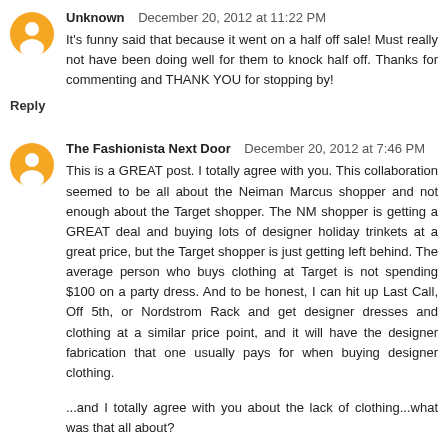[Figure (illustration): Orange Blogger avatar icon (circle with person silhouette) for user Unknown]
Unknown   December 20, 2012 at 11:22 PM
It's funny said that because it went on a half off sale! Must really not have been doing well for them to knock half off. Thanks for commenting and THANK YOU for stopping by!
Reply
[Figure (illustration): Orange Blogger avatar icon (circle with person silhouette) for user The Fashionista Next Door]
The Fashionista Next Door   December 20, 2012 at 7:46 PM
This is a GREAT post. I totally agree with you. This collaboration seemed to be all about the Neiman Marcus shopper and not enough about the Target shopper. The NM shopper is getting a GREAT deal and buying lots of designer holiday trinkets at a great price, but the Target shopper is just getting left behind. The average person who buys clothing at Target is not spending $100 on a party dress. And to be honest, I can hit up Last Call, Off 5th, or Nordstrom Rack and get designer dresses and clothing at a similar price point, and it will have the designer fabrication that one usually pays for when buying designer clothing.
...and I totally agree with you about the lack of clothing...what was that all about?
Reply